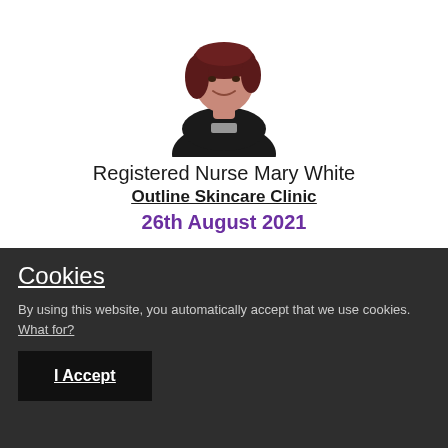[Figure (photo): Headshot photo of a woman with dark reddish-brown hair, wearing a dark uniform, smiling, with a name badge visible]
Registered Nurse Mary White
Outline Skincare Clinic
26th August 2021
Cookies
By using this website, you automatically accept that we use cookies. What for?
I Accept